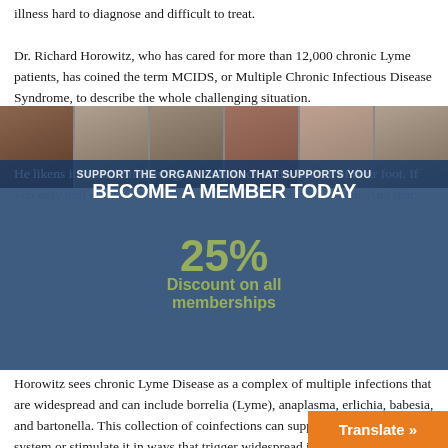illness hard to diagnose and difficult to treat.
Dr. Richard Horowitz, who has cared for more than 12,000 chronic Lyme patients, has coined the term MCIDS, or Multiple Chronic Infectious Disease Syndrome, to describe the whole challenging situation.
[Figure (photo): Strip of six portrait photos of diverse individuals with varied ages and ethnicities against a dark background]
He likens it to someone having 10 nails stuck in the bottom of their foot. If you only pull out one of the nails, the patient will still be in pain. And that...
SUPPORT THE ORGANIZATION THAT SUPPORTS YOU
BECOME A MEMBER TODAY
25% Discount on all memberships
Horowitz sees chronic Lyme Disease as a complex of multiple infections that are widespread and can include borrelia (Lyme), anaplasma, erlichia, babesia, and bartonella. This collection of coinfections can suppress the immune system or stimulate it in ways that trigger widespread inflammation. There are hormone problems, difficulties with detoxification, mitochondrial dysfunction–all of which can give rise to physical and psychiatric sympto...
Translate »